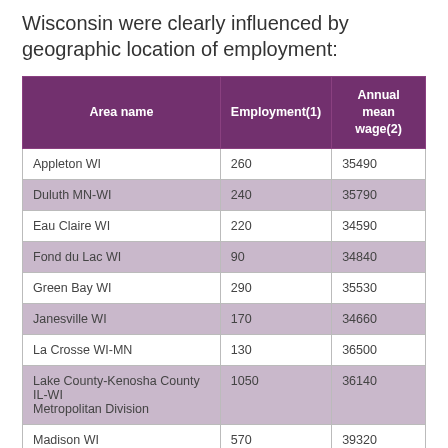Wisconsin were clearly influenced by geographic location of employment:
| Area name | Employment(1) | Annual mean wage(2) |
| --- | --- | --- |
| Appleton WI | 260 | 35490 |
| Duluth MN-WI | 240 | 35790 |
| Eau Claire WI | 220 | 34590 |
| Fond du Lac WI | 90 | 34840 |
| Green Bay WI | 290 | 35530 |
| Janesville WI | 170 | 34660 |
| La Crosse WI-MN | 130 | 36500 |
| Lake County-Kenosha County IL-WI Metropolitan Division | 1050 | 36140 |
| Madison WI | 570 | 39320 |
| Milwaukee-Waukesha-West Allis WI | 1870 | 36980 |